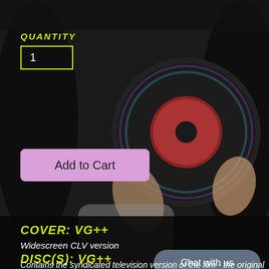[Figure (photo): Dark background photo of hands holding a LaserDisc/CD, with people visible in background]
QUANTITY
1
Add to Cart
COVER: VG++
Widescreen CLV version
DISC(S): VG++
Chat with us
Contains the syndicated television version of the film - the original 1977 version with 30 seconds deleted and